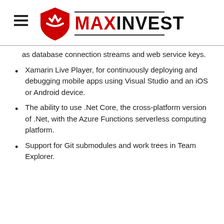MAXINVEST
as database connection streams and web service keys.
Xamarin Live Player, for continuously deploying and debugging mobile apps using Visual Studio and an iOS or Android device.
The ability to use .Net Core, the cross-platform version of .Net, with the Azure Functions serverless computing platform.
Support for Git submodules and work trees in Team Explorer.